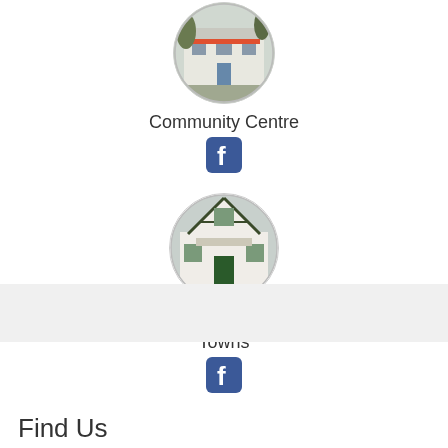[Figure (photo): Circular photo of a community centre building with trees]
Community Centre
[Figure (logo): Facebook icon/logo]
[Figure (photo): Circular photo of a Tidy Towns building, white with green accents and Tudor-style gable]
Tidy Towns
[Figure (logo): Facebook icon/logo]
Find Us